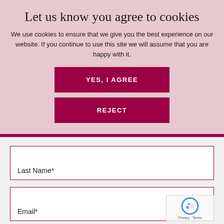Let us know you agree to cookies
We use cookies to ensure that we give you the best experience on our website. If you continue to use this site we will assume that you are happy with it.
YES, I AGREE
REJECT
Last Name*
Email*